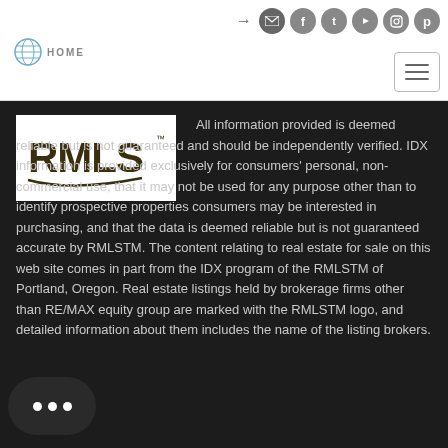Social icons and navigation header
[Figure (logo): HOME logo with globe icon, top left of header]
[Figure (other): Hamburger menu button, top right]
[Figure (logo): RMLS logo in white box on dark background]
All information provided is deemed reliable but is not guaranteed and should be independently verified. IDX information is provided exclusively for consumers' personal, non-commercial use, that it may not be used for any purpose other than to identify prospective properties consumers may be interested in purchasing, and that the data is deemed reliable but is not guaranteed accurate by RMLSTM. The content relating to real estate for sale on this web site comes in part from the IDX program of the RMLSTM of Portland, Oregon. Real estate listings held by brokerage firms other than RE/MAX equity group are marked with the RMLSTM logo, and detailed information about them includes the name of the listing brokers.